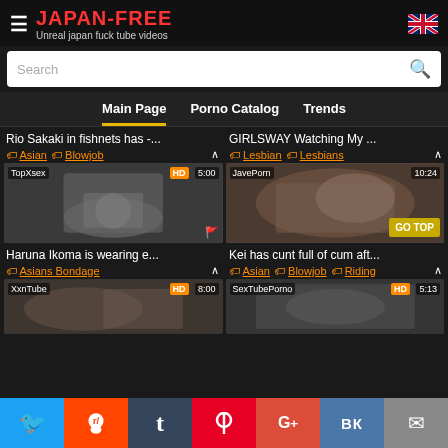JAPAN-FREE — Unreal japan fuck tube videos
Search
Main Page | Porno Catalog | Trends
Rio Sakaki in fishnets has -...
Asian Blowjob
GIRLSWAY Watching My ...
Lesbian Lesbians
[Figure (screenshot): Video thumbnail: TopXsex HD 5:00 - Haruna Ikoma is wearing e...]
Haruna Ikoma is wearing e...
Asians Bondage
[Figure (screenshot): Video thumbnail: JavePorn 10:24 - Kei has cunt full of cum aft...]
Kei has cunt full of cum aft...
Asian Blowjob Riding
[Figure (screenshot): Video thumbnail: XxnTube HD 8:00]
[Figure (screenshot): Video thumbnail: SexTubePorno HD 5:13]
Social share bar: Twitter, Reddit, Tumblr, Pinterest, Google+, VK, Email